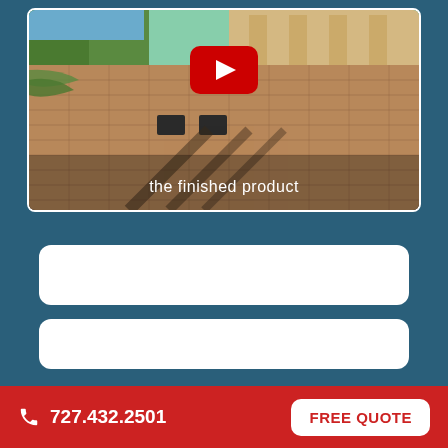[Figure (screenshot): YouTube video thumbnail showing a brick paver driveway with palm trees and a building in the background. A red YouTube play button is centered on the image. Text overlay reads 'the finished product'.]
[Figure (other): Two white rounded input form fields on a dark teal/blue background, part of a contact or quote form.]
the finished product
727.432.2501   FREE QUOTE